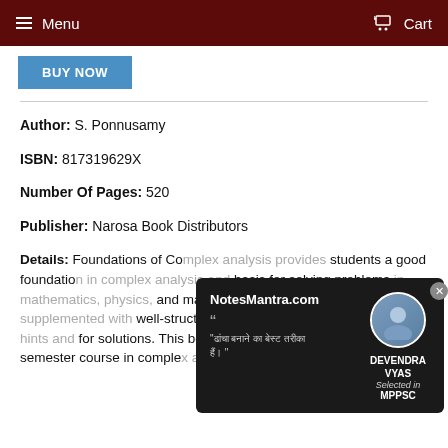Menu  Cart
BUY NOW
Author: S. Ponnusamy
ISBN: 817319629X
Number Of Pages: 520
Publisher: Narosa Book Distributors
Details: Foundations of Complex Analysis provides students a good foundation in complex analysis and a basis for solving problems in mathematics, physics, and many other sciences. Book is supplemented with well-structured examples, and exercises with hints and for solutions. This book can be used as a textbook for a semester course in complex analysis, or as a supplementary...